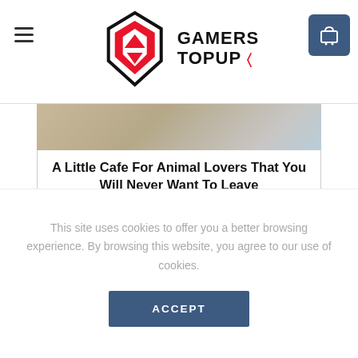Gamers TopUp – website header with logo and navigation
[Figure (photo): Partial photo of an animal (appears to be a fluffy cat or dog) used as article header image]
A Little Cafe For Animal Lovers That You Will Never Want To Leave
[Figure (other): Article content area / advertisement placeholder box]
This site uses cookies to offer you a better browsing experience. By browsing this website, you agree to our use of cookies.
ACCEPT